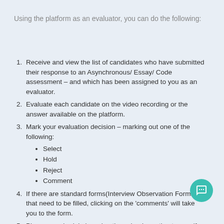Using the platform as an evaluator, you can do the following:
Receive and view the list of candidates who have submitted their response to an Asynchronous/ Essay/ Code assessment – and which has been assigned to you as an evaluator.
Evaluate each candidate on the video recording or the answer available on the platform.
Mark your evaluation decision – marking out one of the following:
Select
Hold
Reject
Comment
If there are standard forms(Interview Observation Forms) that need to be filled, clicking on the 'comments' will take you to the form.
Plan your schedule by using the calendar option to specify the free slots available for Candidate Live